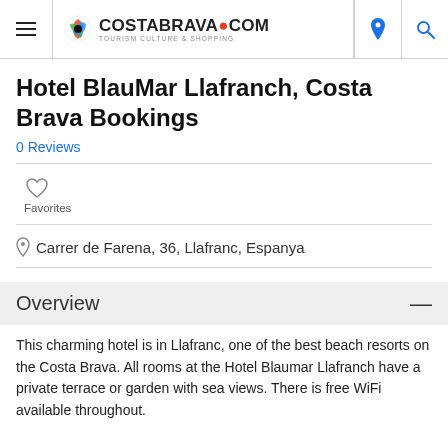COSTABRAVA.COM - TOURISM CULTURE & SHOPPING
Hotel BlauMar Llafranch, Costa Brava Bookings
0 Reviews
Favorites
Carrer de Farena, 36, Llafranc, Espanya
Overview
This charming hotel is in Llafranc, one of the best beach resorts on the Costa Brava. All rooms at the Hotel Blaumar Llafranch have a private terrace or garden with sea views. There is free WiFi available throughout.